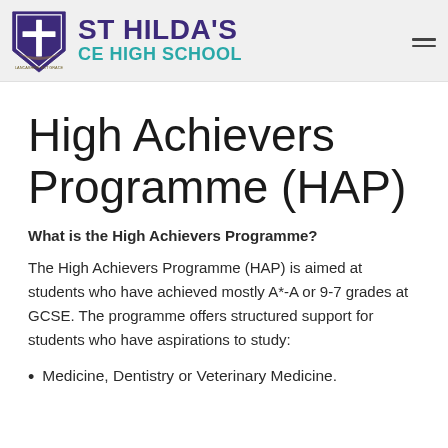[Figure (logo): St Hilda's CE High School logo with purple shield containing a cross and school name in purple and teal]
High Achievers Programme (HAP)
What is the High Achievers Programme?
The High Achievers Programme (HAP) is aimed at students who have achieved mostly A*-A or 9-7 grades at GCSE. The programme offers structured support for students who have aspirations to study:
Medicine, Dentistry or Veterinary Medicine.